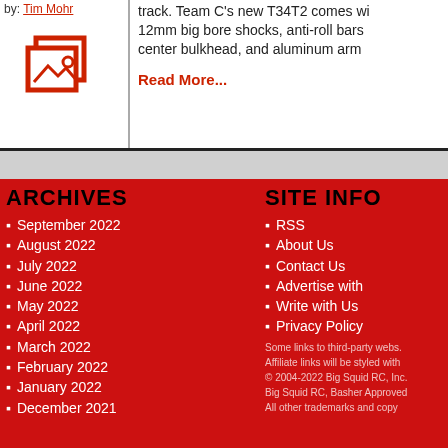by: Tim Mohr
[Figure (illustration): Stacked image placeholder icon]
track. Team C's new T34T2 comes with 12mm big bore shocks, anti-roll bars center bulkhead, and aluminum arm
Read More...
ARCHIVES
September 2022
August 2022
July 2022
June 2022
May 2022
April 2022
March 2022
February 2022
January 2022
December 2021
SITE INFO
RSS
About Us
Contact Us
Advertise with
Write with Us
Privacy Policy
Some links to third-party webs. Affiliate links will be styled with
© 2004-2022 Big Squid RC, Inc. Big Squid RC, Basher Approved All other trademarks and copy